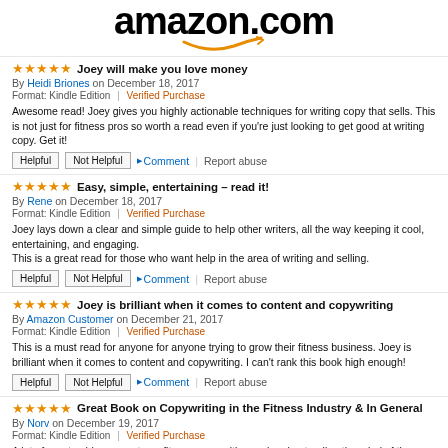[Figure (logo): Amazon.com logo with orange arrow underline]
★★★★★ Joey will make you love money
By Heidi Briones on December 18, 2017
Format: Kindle Edition | Verified Purchase
Awesome read! Joey gives you highly actionable techniques for writing copy that sells. This is not just for fitness pros so worth a read even if you're just looking to get good at writing copy. Get it!
★★★★★ Easy, simple, entertaining – read it!
By Rene on December 18, 2017
Format: Kindle Edition | Verified Purchase
Joey lays down a clear and simple guide to help other writers, all the way keeping it cool, entertaining, and engaging.
This is a great read for those who want help in the area of writing and selling.
★★★★★ Joey is brilliant when it comes to content and copywriting
By Amazon Customer on December 21, 2017
Format: Kindle Edition | Verified Purchase
This is a must read for anyone for anyone trying to grow their fitness business. Joey is brilliant when it comes to content and copywriting. I can't rank this book high enough!
★★★★★ Great Book on Copywriting in the Fitness Industry & In General
By Norv on December 19, 2017
Format: Kindle Edition | Verified Purchase
A lot of great golden nuggets on fitness copywriting and understanding the mind of the buyer/client. I highly recommend it!